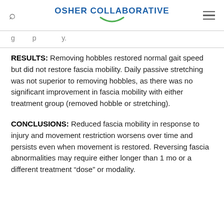OSHER COLLABORATIVE
RESULTS: Removing hobbles restored normal gait speed but did not restore fascia mobility. Daily passive stretching was not superior to removing hobbles, as there was no significant improvement in fascia mobility with either treatment group (removed hobble or stretching).
CONCLUSIONS: Reduced fascia mobility in response to injury and movement restriction worsens over time and persists even when movement is restored. Reversing fascia abnormalities may require either longer than 1 mo or a different treatment “dose” or modality.